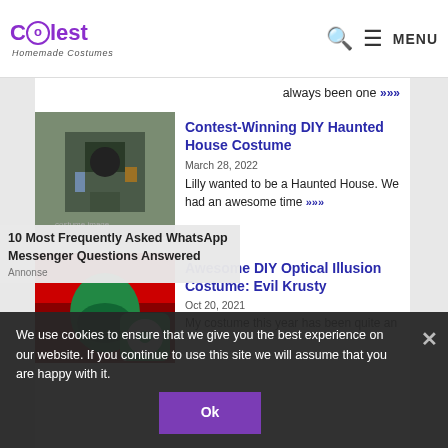Coolest Homemade Costumes — MENU
always been one »»»
[Figure (photo): Person wearing a DIY Haunted House costume with small skeleton figures and lights attached to a box structure]
Contest-Winning DIY Haunted House Costume
March 28, 2022
Lilly wanted to be a Haunted House. We had an awesome time »»»
[Figure (photo): Person wearing an optical illusion Evil Krusty costume, partially visible]
Awesome DIY Optical Illusion Costume: Evil Krusty
My costume this year has been quite an
We use cookies to ensure that we give you the best experience on our website. If you continue to use this site we will assume that you are happy with it.
Ok
10 Most Frequently Asked WhatsApp Messenger Questions Answered
Annonse